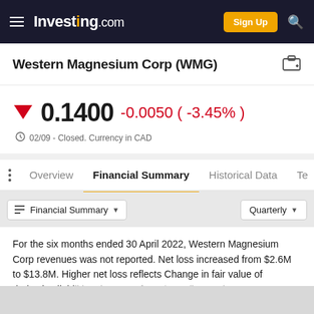Investing.com — Sign Up
Western Magnesium Corp (WMG)
0.1400  -0.0050 ( -3.45% )  02/09 - Closed. Currency in CAD
Overview   Financial Summary   Historical Data   Te…
Financial Summary  ▾    Quarterly  ▾
For the six months ended 30 April 2022, Western Magnesium Corp revenues was not reported. Net loss increased from $2.6M to $13.8M. Higher net loss reflects Change in fair value of derivative liabilities decrease from $17K (income) to…